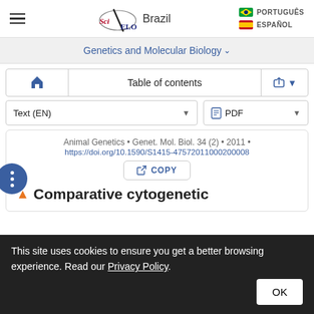[Figure (logo): SciELO Brazil website header with hamburger menu, SciELO logo, Brazil text, Portuguese flag PORTUGUÊS link, Spanish flag ESPAÑOL link]
Genetics and Molecular Biology ▾
Table of contents
Text (EN) ▾
PDF ▾
Animal Genetics • Genet. Mol. Biol. 34 (2) • 2011 • https://doi.org/10.1590/S1415-47572011000200008
COPY
Comparative cytogenetic
This site uses cookies to ensure you get a better browsing experience. Read our Privacy Policy.
OK